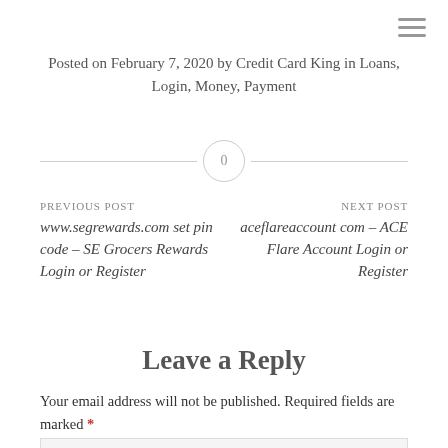Posted on February 7, 2020 by Credit Card King in Loans, Login, Money, Payment
0
PREVIOUS POST
www.segrewards.com set pin code – SE Grocers Rewards Login or Register
NEXT POST
aceflareaccount com – ACE Flare Account Login or Register
Leave a Reply
Your email address will not be published. Required fields are marked *